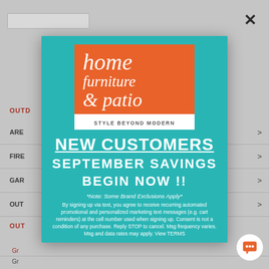[Figure (screenshot): Background website page showing navigation menu with outdoor furniture categories (AREA RUGS, FIRE PITS, GARDEN items, OUTDOOR sections) with right-facing arrow chevrons, partially obscured by popup modal]
[Figure (logo): Home Furniture & Patio logo - orange square with white italic text reading 'home furniture & patio' and white tagline box reading 'STYLE BEYOND MODERN']
NEW CUSTOMERS SEPTEMBER SAVINGS BEGIN NOW !!
*Note: Some Brand Exclusions Apply*
By signing up via text, you agree to receive recurring automated promotional and personalized marketing text messages (e.g. cart reminders) at the cell number used when signing up. Consent is not a condition of any purchase. Reply STOP to cancel. Msg frequency varies. Msg and data rates may apply. View TERMS